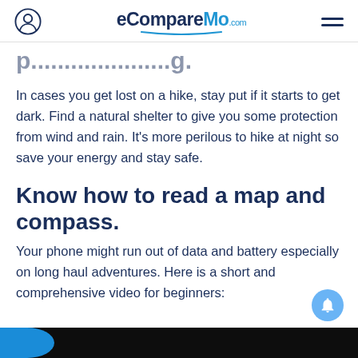eCompareMo.com
Know how to read a map and compass.
In cases you get lost on a hike, stay put if it starts to get dark. Find a natural shelter to give you some protection from wind and rain. It’s more perilous to hike at night so save your energy and stay safe.
Know how to read a map and compass.
Your phone might run out of data and battery especially on long haul adventures. Here is a short and comprehensive video for beginners:
[Figure (photo): Dark video thumbnail strip at bottom of page]